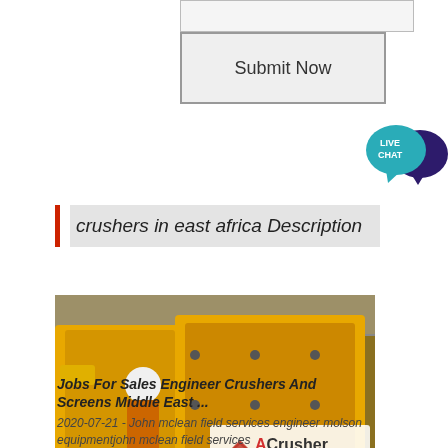[Figure (screenshot): Submit Now button UI element]
[Figure (screenshot): Live Chat bubble icon in teal and dark blue]
crushers in east africa Description
[Figure (photo): Large yellow mining crusher machines in a factory warehouse, worker in hard hat and orange jacket stands beside the equipment. ACrusher Mining Equipment logo overlay visible.]
Jobs For Sales Engineer Crushers And Screens Middle East ...
2020-07-21 - John mclean field services engineer molson equipmentjohn mclean field services engineer molson equipment...